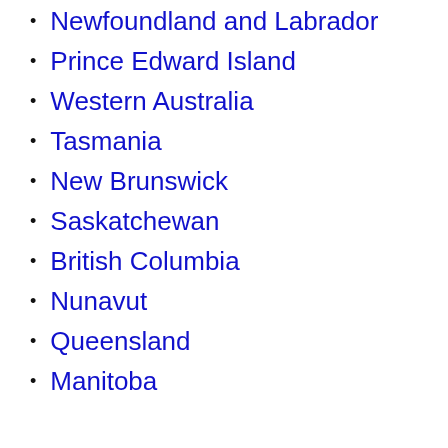Newfoundland and Labrador
Prince Edward Island
Western Australia
Tasmania
New Brunswick
Saskatchewan
British Columbia
Nunavut
Queensland
Manitoba